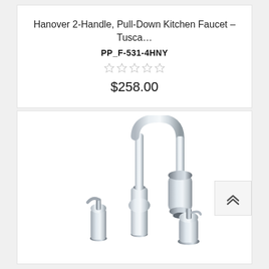Hanover 2-Handle, Pull-Down Kitchen Faucet - Tusca...
PP_F-531-4HNY
[Figure (other): Five empty star rating icons in a row, indicating no reviews/ratings]
$258.00
[Figure (photo): Chrome Hanover 2-Handle Pull-Down Kitchen Faucet with soap dispensers on both sides. The faucet has a tall goose-neck style pull-down sprayer head, and two matching chrome soap/lotion dispensers flanking the base.]